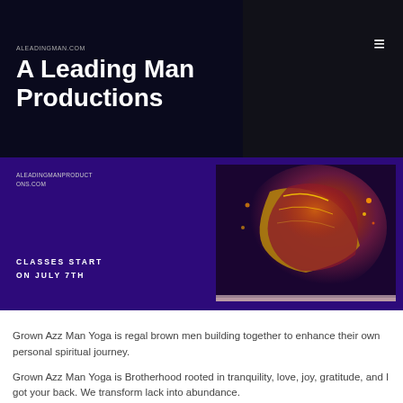A Leading Man Productions
[Figure (screenshot): Website screenshot showing a purple banner with text 'CLASSES START ON JULY 7TH' on the left and a fantasy/artistic image on the right showing golden and red robes]
Grown Azz Man Yoga is regal brown men building together to enhance their own personal spiritual journey.
Grown Azz Man Yoga is Brotherhood rooted in tranquility, love, joy, gratitude, and I got your back. We transform lack into abundance.